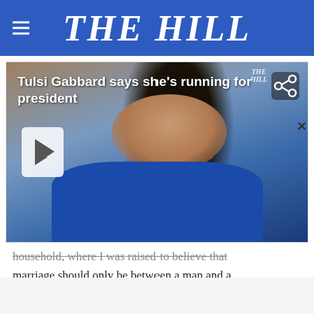THE HILL
[Figure (screenshot): Video player screenshot showing Tulsi Gabbard in a blue blazer at a press conference. White play button on left side. Title overlay reads: 'Tulsi Gabbard says she's running for president'. Share icon in top right. The Hill watermark visible.]
household, where I was raised to believe that marriage should only be between a man and a woman," she continued. "For a period of m[x]e I didn't